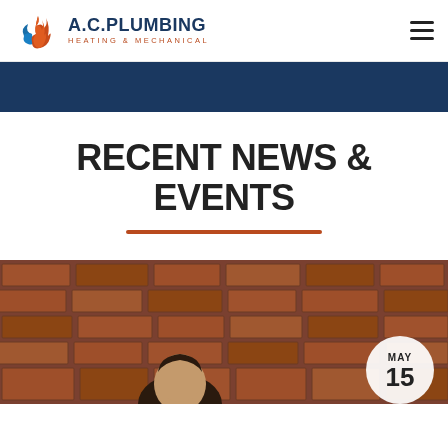A.C. PLUMBING HEATING & MECHANICAL
RECENT NEWS & EVENTS
[Figure (photo): Photo of a person in front of a red brick wall, with a date badge showing MAY 15 in the bottom right corner]